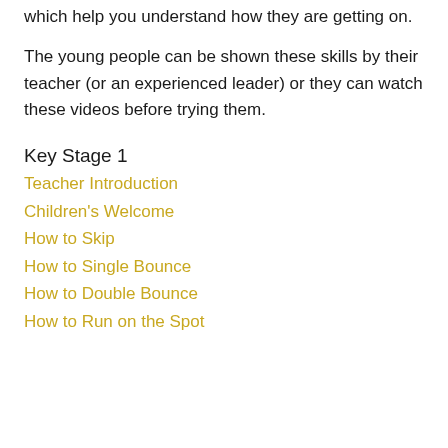which help you understand how they are getting on.
The young people can be shown these skills by their teacher (or an experienced leader) or they can watch these videos before trying them.
Key Stage 1
Teacher Introduction
Children's Welcome
How to Skip
How to Single Bounce
How to Double Bounce
How to Run on the Spot